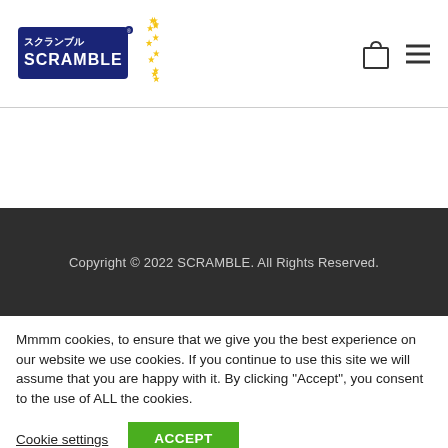[Figure (logo): Scramble brand logo with Japanese text and EU stars circle, dark blue with yellow stars]
Copyright © 2022 SCRAMBLE. All Rights Reserved.
Mmmm cookies, to ensure that we give you the best experience on our website we use cookies. If you continue to use this site we will assume that you are happy with it. By clicking "Accept", you consent to the use of ALL the cookies.
Cookie settings
ACCEPT